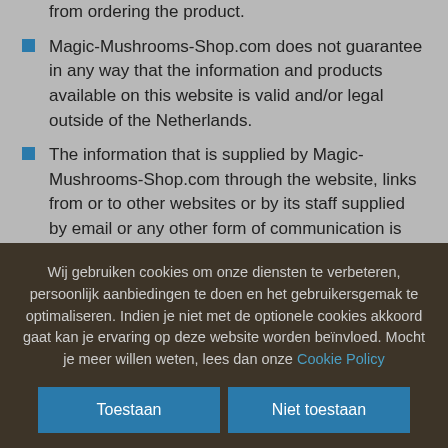from ordering the product.
Magic-Mushrooms-Shop.com does not guarantee in any way that the information and products available on this website is valid and/or legal outside of the Netherlands.
The information that is supplied by Magic-Mushrooms-Shop.com through the website, links from or to other websites or by its staff supplied by email or any other form of communication is strictly
Wij gebruiken cookies om onze diensten te verbeteren, persoonlijk aanbiedingen te doen en het gebruikersgemak te optimaliseren. Indien je niet met de optionele cookies akkoord gaat kan je ervaring op deze website worden beïnvloed. Mocht je meer willen weten, lees dan onze Cookie Policy